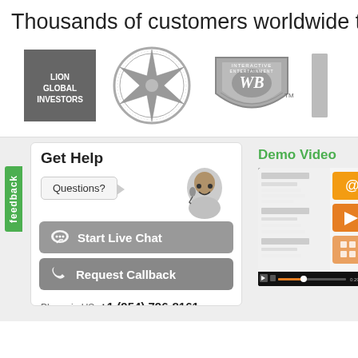Thousands of customers worldwide tru
[Figure (logo): Lion Global Investors logo (gray square with text)]
[Figure (logo): NATO compass star logo (circular, grayscale)]
[Figure (logo): Warner Bros Interactive Entertainment shield logo (grayscale)]
Get Help
Questions?
Start Live Chat
Request Callback
Phone in US: +1 (954) 796-8161
Demo Video
[Figure (screenshot): Demo video screenshot showing a contact management application with orange icons and a video player control bar showing 0:29/1:38]